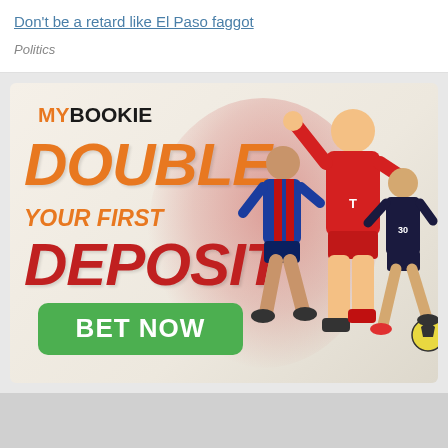Don't be a retard like El Paso faggot
Politics
[Figure (photo): MyBookie sports betting advertisement showing soccer players and text: DOUBLE YOUR FIRST DEPOSIT with a BET NOW green button]